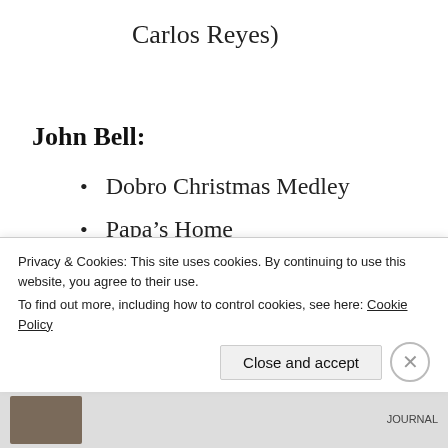Carlos Reyes)
John Bell:
Dobro Christmas Medley
Papa’s Home
May Your Glass Be Filled
Gregg Allman:
Privacy & Cookies: This site uses cookies. By continuing to use this website, you agree to their use.
To find out more, including how to control cookies, see here: Cookie Policy